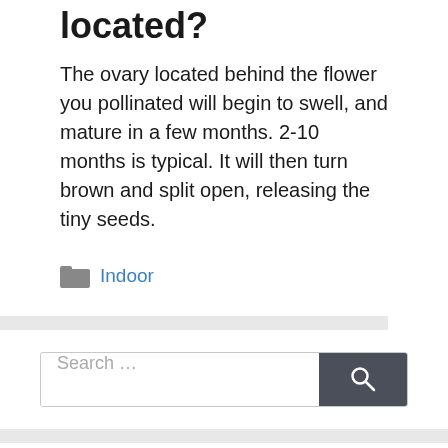located?
The ovary located behind the flower you pollinated will begin to swell, and mature in a few months. 2-10 months is typical. It will then turn brown and split open, releasing the tiny seeds.
Indoor
Search …
About the author